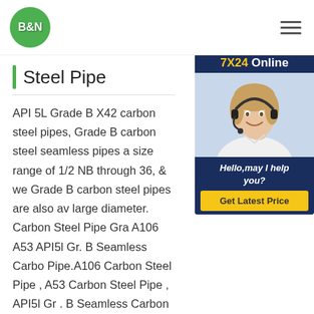[Figure (logo): B&N company logo — green circle with white B&N text]
Steel Pipe
[Figure (infographic): 7X24 Online chat panel with customer service representative photo and 'Hello, may I help you?' message and 'Get Latest Price' button]
API 5L Grade B X42 carbon steel pipes, Grade B carbon steel seamless pipes available in size range of 1/2 NB through 36, & welded Grade B carbon steel pipes are also available in large diameter. Carbon Steel Pipe Grade. A106 A53 API5l Gr. B Seamless Carbon Steel Pipe.A106 Carbon Steel Pipe , A53 Carbon Steel Pipe , API5l Gr . B Seamless Carbon Steel Pipe manufacturer / supplier in China, offering ASTM A106 A53 API5l Gr . B Seamless Carbon Steel Pipe ., JIS 3445 Stkm 14A 14b 14c Carbon Steel Tube, ASME